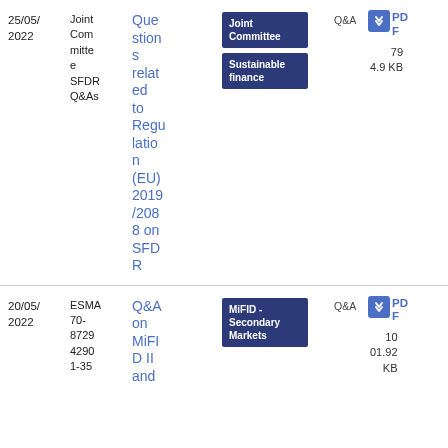| Date | Author | Title | Tags | Type | Download | Meta |
| --- | --- | --- | --- | --- | --- | --- |
| 25/05/2022 | Joint Committee SFDR Q&As | Questions related to Regulation (EU) 2019/2088 on SFDR | Joint Committee | Sustainable finance | Q&A | PDF | 79
4.9 KB |
| 20/05/2022 | ESMA 70-87294290 1-35 | Q&A on MiFID II and | MiFID - Secondary Markets | Q&A | PDF | 1001.92 KB |